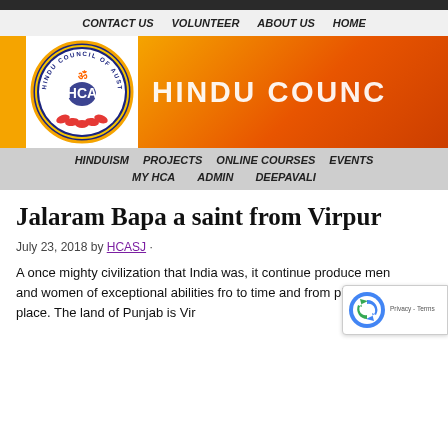CONTACT US   VOLUNTEER   ABOUT US   HOME
[Figure (logo): Hindu Council of Australia circular logo with Om symbol and lotus flower, on orange background banner with text HINDU COUNC]
HINDUISM   PROJECTS   ONLINE COURSES   EVENTS   MY HCA   ADMIN   DEEPAVALI
Jalaram Bapa a saint from Virpur
July 23, 2018 by HCASJ ·
A once mighty civilization that India was, it continue produce men and women of exceptional abilities fro to time and from place to place. The land of Punjab is Vir